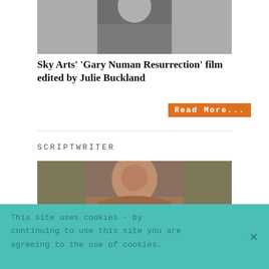[Figure (photo): Black and white photo of a person wearing a dark turtleneck sweater, cropped to show shoulders and lower face/neck area]
Sky Arts' 'Gary Numan Resurrection' film edited by Julie Buckland
Read More...
SCRIPTWRITER
[Figure (photo): Color photo of a young woman with long dark hair looking upward, outdoors with green foliage in background]
This site uses cookies - by continuing to use this site you are agreeing to the use of cookies.